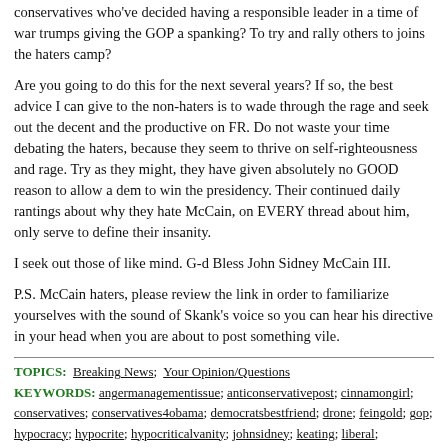conservatives who've decided having a responsible leader in a time of war trumps giving the GOP a spanking? To try and rally others to joins the haters camp?
Are you going to do this for the next several years? If so, the best advice I can give to the non-haters is to wade through the rage and seek out the decent and the productive on FR. Do not waste your time debating the haters, because they seem to thrive on self-righteousness and rage. Try as they might, they have given absolutely no GOOD reason to allow a dem to win the presidency. Their continued daily rantings about why they hate McCain, on EVERY thread about him, only serve to define their insanity.
I seek out those of like mind. G-d Bless John Sidney McCain III.
P.S. McCain haters, please review the link in order to familiarize yourselves with the sound of Skank's voice so you can hear his directive in your head when you are about to post something vile.
TOPICS: Breaking News; Your Opinion/Questions
KEYWORDS: angermanagementissue; anticonservativepost; cinnamongirl; conservatives; conservatives4obama; democratsbestfriend; drone; feingold; gop; hypocracy; hypocrite; hypocriticalvanity; johnsidney; keating; liberal; liberalagenda; liberalmindset; liberalvalues; mcamnesty; mccain; mccainiacs; newmajority; rageaholics; reforminstitute; rino; rinolovers; rinosanity;